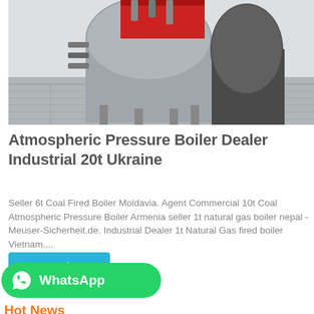[Figure (photo): Industrial atmospheric pressure boiler equipment in a facility, showing large cylindrical boiler components with red and metallic parts, pipes and grating on the floor.]
Atmospheric Pressure Boiler Dealer Industrial 20t Ukraine
Seller 6t Coal Fired Boiler Moldavia. Agent Commercial 10t Coal Atmospheric Pressure Boiler Armenia seller 1t natural gas boiler nepal - Meuser-Sicherheit.de. Industrial Dealer 1t Natural Gas fired boiler Vietnam....
Get Price
[Figure (logo): WhatsApp green button with phone icon and WhatsApp text in white]
Hot News